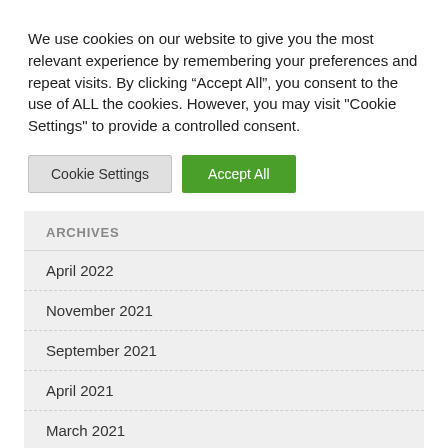We use cookies on our website to give you the most relevant experience by remembering your preferences and repeat visits. By clicking “Accept All”, you consent to the use of ALL the cookies. However, you may visit "Cookie Settings" to provide a controlled consent.
Cookie Settings
Accept All
Archives
April 2022
November 2021
September 2021
April 2021
March 2021
December 2020
November 2020
October 2020